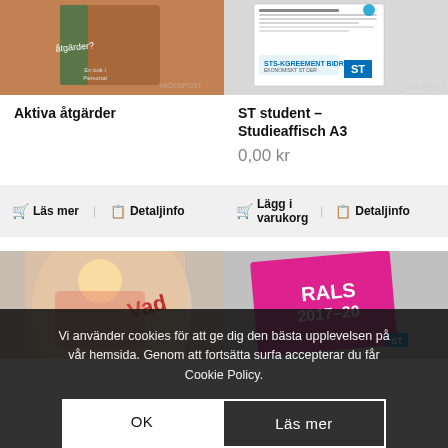[Figure (photo): Product image for 'Aktiva åtgärder' book cover, brown/green tones]
[Figure (photo): Product image for 'ST student – Studieaffisch A3', document/letter with ST logo]
Aktiva åtgärder
ST student – Studieaffisch A3
0,00 kr
🛒 Läs mer   📋 Detaljinfo
🛒 Lägg i varukorg   📋 Detaljinfo
[Figure (photo): Bottom left product image, pinkish/sunset tones with text 'VAD']
[Figure (photo): Bottom right product image, magenta/pink background with text 'RALS 2017-2020']
Vi använder cookies för att ge dig den bästa upplevelsen på vår hemsida. Genom att fortsätta surfa accepterar du får Cookie Policy.
OK
Läs mer